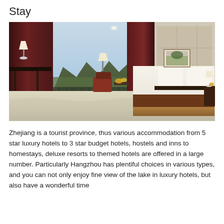Stay
[Figure (photo): Luxury hotel room with large bed, brown curtains, mountain view through balcony window, seating area, and elegant decor]
Zhejiang is a tourist province, thus various accommodation from 5 star luxury hotels to 3 star budget hotels, hostels and inns to homestays, deluxe resorts to themed hotels are offered in a large number. Particularly Hangzhou has plentiful choices in various types, and you can not only enjoy fine view of the lake in luxury hotels, but also have a wonderful time